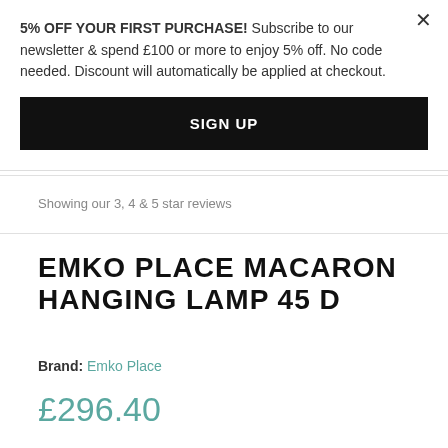5% OFF YOUR FIRST PURCHASE! Subscribe to our newsletter & spend £100 or more to enjoy 5% off. No code needed. Discount will automatically be applied at checkout.
SIGN UP
Showing our 3, 4 & 5 star reviews
EMKO PLACE MACARON HANGING LAMP 45 D
Brand: Emko Place
£296.40